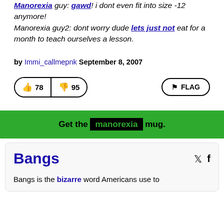Manorexia guy: gawd! i dont even fit into size -12 anymore!
Manorexia guy2: dont worry dude lets just not eat for a month to teach ourselves a lesson.
by Immi_callmepnk September 8, 2007
[Figure (other): Vote buttons: thumbs up 78, thumbs down 95, and a FLAG button]
Get the manorexia mug.
Bangs
Bangs is the bizarre word Americans use to